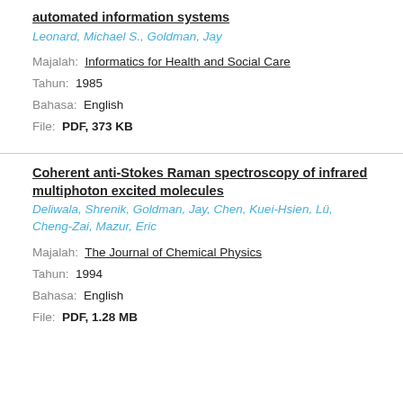automated information systems
Leonard, Michael S., Goldman, Jay
Majalah: Informatics for Health and Social Care
Tahun: 1985
Bahasa: English
File: PDF, 373 KB
Coherent anti-Stokes Raman spectroscopy of infrared multiphoton excited molecules
Deliwala, Shrenik, Goldman, Jay, Chen, Kuei-Hsien, Lü, Cheng-Zai, Mazur, Eric
Majalah: The Journal of Chemical Physics
Tahun: 1994
Bahasa: English
File: PDF, 1.28 MB